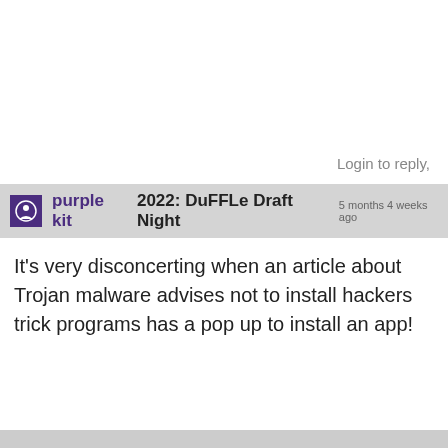Login to reply,
purple kit  2022: DuFFLe Draft Night  5 months 4 weeks ago
It’s very disconcerting when an article about Trojan malware advises not to install hackers trick programs has a pop up to install an app!
Login to reply,